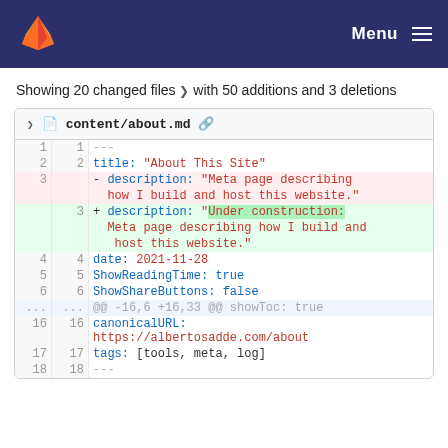Menu
Showing 20 changed files with 50 additions and 3 deletions
[Figure (screenshot): GitLab diff view of content/about.md showing line changes including a modified description field from 'Meta page describing how I build and host this website.' to 'Under construction: Meta page describing how I build and host this website.' along with other unchanged lines like title, date, ShowReadingTime, ShowShareButtons, canonicalURL, tags.]